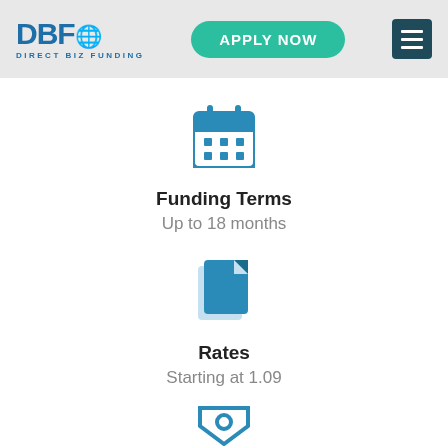[Figure (logo): Direct Biz Funding logo with DBF text and globe icon]
APPLY NOW
[Figure (other): Hamburger menu icon (three horizontal lines) on dark teal background]
[Figure (other): Calendar icon in teal/blue color]
Funding Terms
Up to 18 months
[Figure (other): Document/pages icon in teal/blue color]
Rates
Starting at 1.09
[Figure (other): Partial icon visible at bottom — appears to be a shield or tag shape in teal]